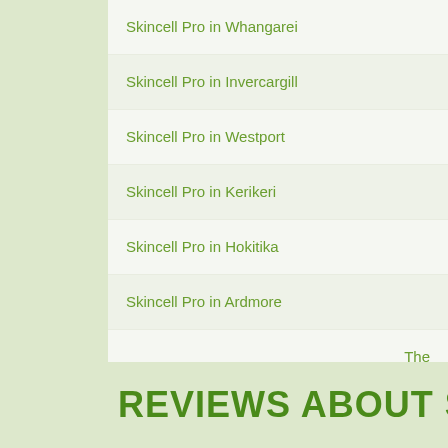Skincell Pro in Whangarei
Skincell Pro in Invercargill
Skincell Pro in Westport
Skincell Pro in Kerikeri
Skincell Pro in Hokitika
Skincell Pro in Ardmore
The
REVIEWS ABOUT S